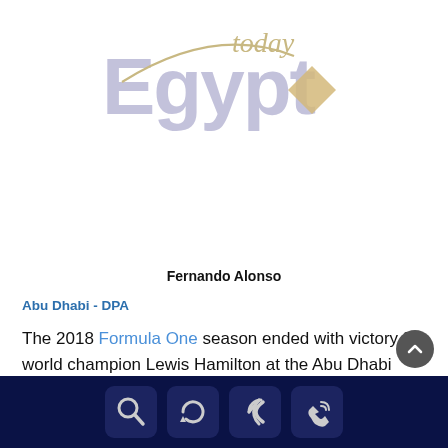[Figure (logo): Egypt Today logo with large light purple 'Egypt' text, 'today' in tan cursive above, a decorative arc swoosh, and a tan diamond shape to the right]
Fernando Alonso
Abu Dhabi - DPA
The 2018 Formula One season ended with victory for world champion Lewis Hamilton at the Abu Dhabi Grand Prix on Sunday and a refreshed grid, without Spanish great Fernando Alonso, awaits in 2019.
[Figure (screenshot): Dark navy footer bar with four icon buttons: magnifying glass (search), refresh arrows, back arrow, and phone/signal icon]